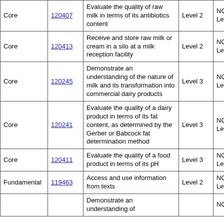| Type | ID | Description | Level | NQF | Credits |
| --- | --- | --- | --- | --- | --- |
| Core | 120407 | Evaluate the quality of raw milk in terms of its antibiotics content | Level 2 | NQF Level 02 | 5 |
| Core | 120413 | Receive and store raw milk or cream in a silo at a milk reception facility | Level 2 | NQF Level 02 | 8 |
| Core | 120245 | Demonstrate an understanding of the nature of milk and its transformation into commercial dairy products | Level 3 | NQF Level 03 | 6 |
| Core | 120241 | Evaluate the quality of a dairy product in terms of its fat content, as determined by the Gerber or Babcock fat determination method | Level 3 | NQF Level 03 | 5 |
| Core | 120411 | Evaluate the quality of a food product in terms of its pH | Level 3 | NQF Level 03 | 4 |
| Fundamental | 119463 | Access and use information from texts | Level 2 | NQF Level 02 | 5 |
|  |  | Demonstrate an understanding of |  | NQF |  |